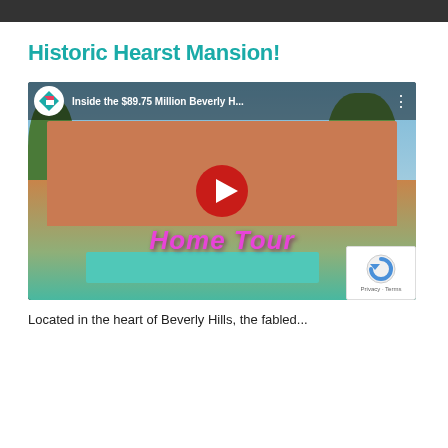Historic Hearst Mansion!
[Figure (screenshot): YouTube video thumbnail for 'Inside the $89.75 Million Beverly H...' showing a luxury Spanish-style mansion with pool and gardens, with a 'Home Tour' text overlay and a red YouTube play button in the center.]
Located in the heart of Beverly Hills, the fabled...